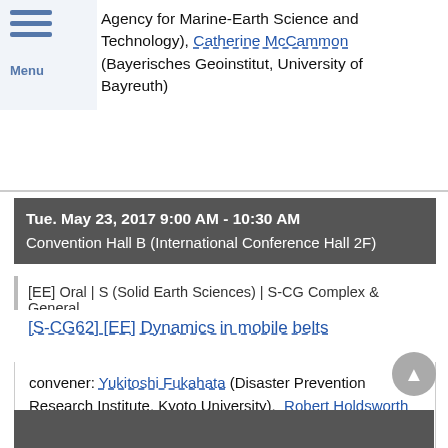Menu
Agency for Marine-Earth Science and Technology), Catherine McCammon (Bayerisches Geoinstitut, University of Bayreuth)
Tue. May 23, 2017 9:00 AM - 10:30 AM
Convention Hall B (International Conference Hall 2F)
[EE] Oral | S (Solid Earth Sciences) | S-CG Complex & General
[S-CG62] [EE] Dynamics in mobile belts
convener: Yukitoshi Fukahata (Disaster Prevention Research Institute, Kyoto University), Robert Holdsworth (Durham University), Jeanne Hardebeck (USGS), Hikaru Iwamori (Geochemical Evolution Research Program, Japan Agency for Marine-Earth Science and Technology), Chairperson: Robert Holdsworth (Durham University), Chairperson: Ichiko Shimizu (Department of Earth and Planetary Science, Graduate School of Science, University of Tokyo)